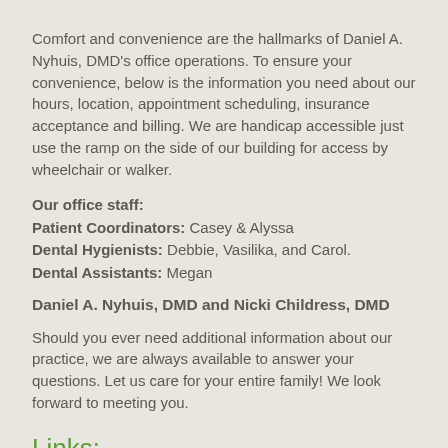Comfort and convenience are the hallmarks of Daniel A. Nyhuis, DMD's office operations. To ensure your convenience, below is the information you need about our hours, location, appointment scheduling, insurance acceptance and billing. We are handicap accessible just use the ramp on the side of our building for access by wheelchair or walker.
Our office staff:
Patient Coordinators: Casey & Alyssa
Dental Hygienists: Debbie, Vasilika, and Carol.
Dental Assistants: Megan
Daniel A. Nyhuis, DMD and Nicki Childress, DMD
Should you ever need additional information about our practice, we are always available to answer your questions. Let us care for your entire family! We look forward to meeting you.
Links: